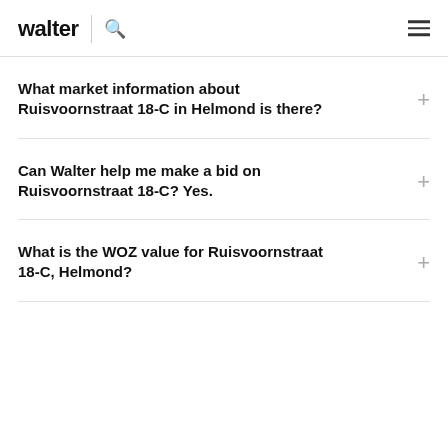walter
What market information about Ruisvoornstraat 18-C in Helmond is there?
Can Walter help me make a bid on Ruisvoornstraat 18-C? Yes.
What is the WOZ value for Ruisvoornstraat 18-C, Helmond?